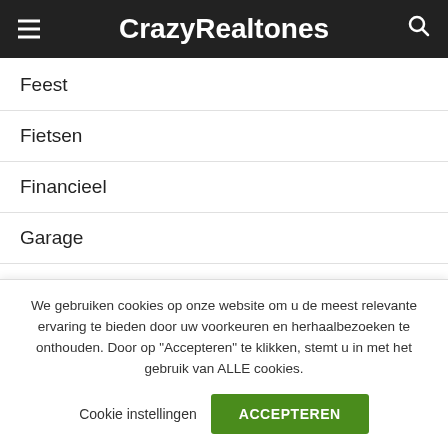CrazyRealtones
Feest
Fietsen
Financieel
Garage
Geboorte
Horeca
kleding
Lifestyle
We gebruiken cookies op onze website om u de meest relevante ervaring te bieden door uw voorkeuren en herhaalbezoeken te onthouden. Door op "Accepteren" te klikken, stemt u in met het gebruik van ALLE cookies.
Cookie instellingen   ACCEPTEREN